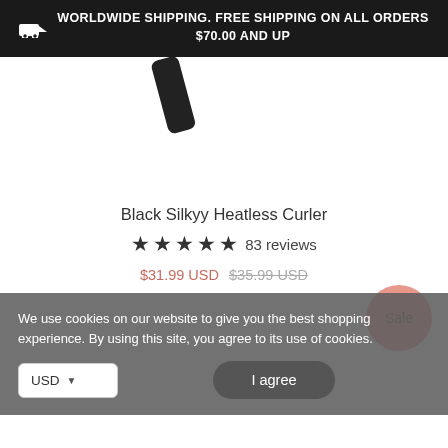WORLDWIDE SHIPPING. FREE SHIPPING ON ALL ORDERS $70.00 AND UP
Black Silkyy Heatless Curler
★★★★★ 83 reviews
$31.99 USD $35.99 USD
Sale
We use cookies on our website to give you the best shopping experience. By using this site, you agree to its use of cookies.
USD
I agree